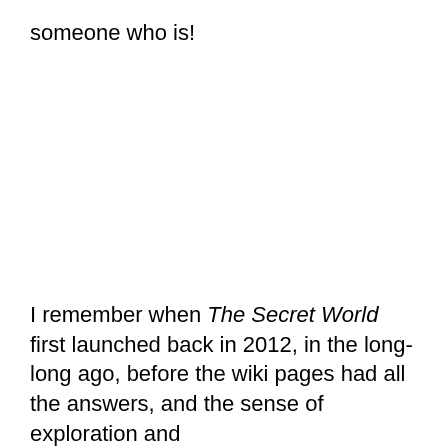someone who is!
I remember when The Secret World first launched back in 2012, in the long-long ago, before the wiki pages had all the answers, and the sense of exploration and